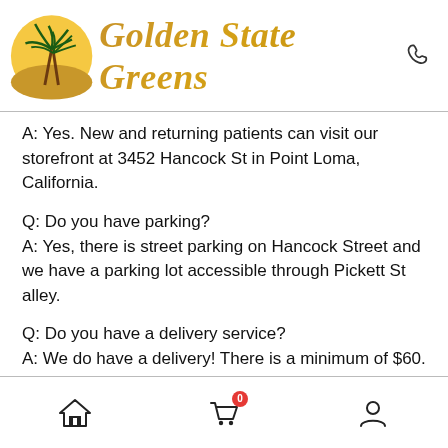[Figure (logo): Golden State Greens logo with palm tree circle graphic and cursive gold text reading 'Golden State Greens', with a phone icon to the right]
A: Yes. New and returning patients can visit our storefront at 3452 Hancock St in Point Loma, California.
Q: Do you have parking?
A: Yes, there is street parking on Hancock Street and we have a parking lot accessible through Pickett St alley.
Q: Do you have a delivery service?
A: We do have a delivery! There is a minimum of $60. There is no delivery fee within 20 miles of our location (3452 Hancock St). 20+ miles are subject to a delivery fee.
Navigation bar with home, cart (0), and user icons